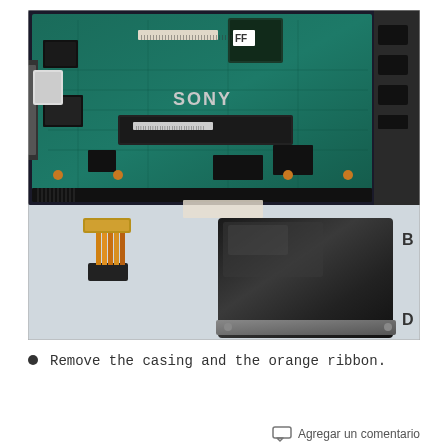[Figure (photo): Disassembled Sony laptop showing the motherboard (top), a detached orange ribbon/flex cable with black connector (bottom left), and a removed hard drive with black casing/shield (bottom right). Labels B and D visible on right side of image.]
Remove the casing and the orange ribbon.
Agregar un comentario